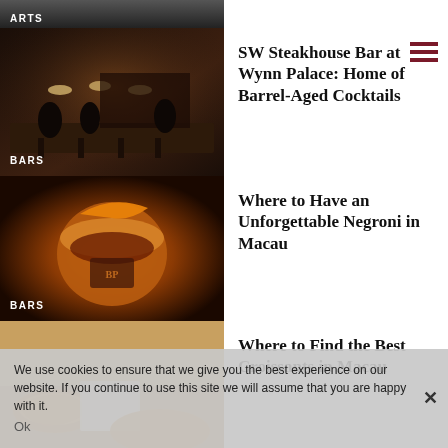[Figure (photo): Top partial image strip with ARTS badge, dark bar/venue interior]
[Figure (photo): Dark moody bar interior with pendant lights and bar stools at SW Steakhouse Bar, Wynn Palace]
SW Steakhouse Bar at Wynn Palace: Home of Barrel-Aged Cocktails
[Figure (photo): Close-up of a Negroni cocktail in a copper cup with orange peel garnish and BP branded coaster]
Where to Have an Unforgettable Negroni in Macau
[Figure (photo): Croissants on a table with a magazine, partial view]
Where to Find the Best Croissants in Macau
We use cookies to ensure that we give you the best experience on our website. If you continue to use this site we will assume that you are happy with it.